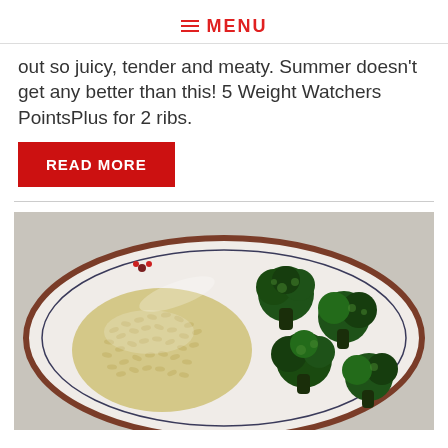≡ MENU
out so juicy, tender and meaty. Summer doesn't get any better than this! 5 Weight Watchers PointsPlus for 2 ribs.
READ MORE
[Figure (photo): A plate with rice/risotto on the left side and roasted broccoli florets on the right side, on a white plate with a dark decorative rim.]